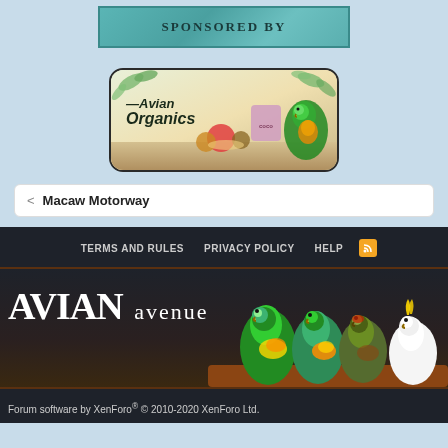[Figure (other): Sponsored By banner with teal/aqua textured background and dark serif text reading SPONSORED BY]
[Figure (other): Avian Organics advertisement banner with rounded corners, showing logo text Avian Organics with organic food items and a parrot on a warm background]
< Macaw Motorway
TERMS AND RULES   PRIVACY POLICY   HELP   [RSS]
[Figure (logo): Avian Avenue forum footer banner showing AVIAN AVENUE logo text with illustrated parrots and cockatoo on a wooden perch with dark background]
Forum software by XenForo® © 2010-2020 XenForo Ltd.